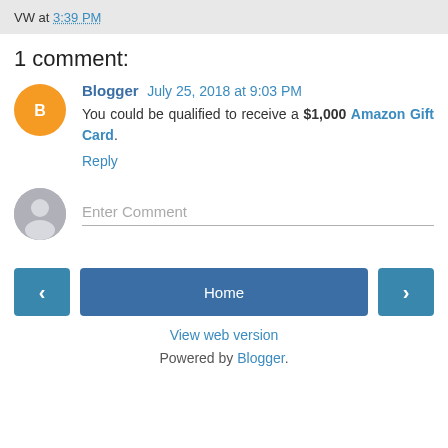VW at 3:39 PM
1 comment:
Blogger July 25, 2018 at 9:03 PM
You could be qualified to receive a $1,000 Amazon Gift Card.
Reply
Enter Comment
< Home > View web version Powered by Blogger.